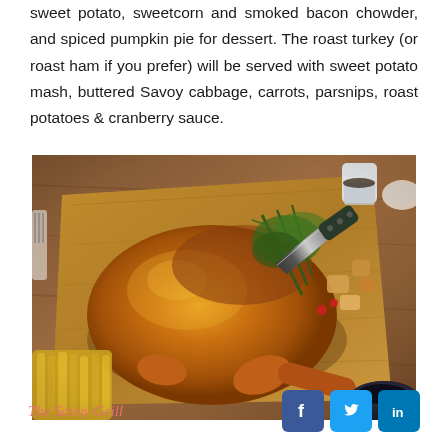sweet potato, sweetcorn and smoked bacon chowder, and spiced pumpkin pie for dessert. The roast turkey (or roast ham if you prefer) will be served with sweet potato mash, buttered Savoy cabbage, carrots, parsnips, roast potatoes & cranberry sauce.
[Figure (photo): A roasted whole turkey on a wooden cutting board, garnished with fresh rosemary and herbs, with a carving knife beside it, french fries and a bowl of sauce visible at the edges.]
The Savoy Grill [Facebook] [Twitter] [LinkedIn]